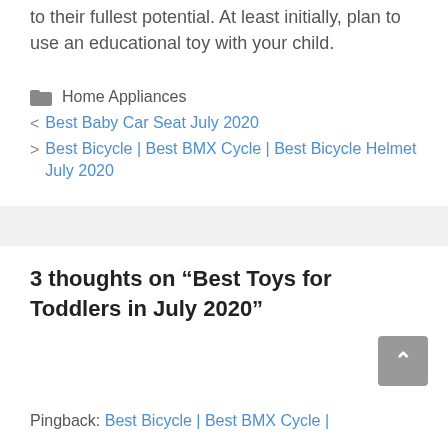to their fullest potential. At least initially, plan to use an educational toy with your child.
Home Appliances
< Best Baby Car Seat July 2020
> Best Bicycle | Best BMX Cycle | Best Bicycle Helmet July 2020
3 thoughts on “Best Toys for Toddlers in July 2020”
Pingback: Best Bicycle | Best BMX Cycle |